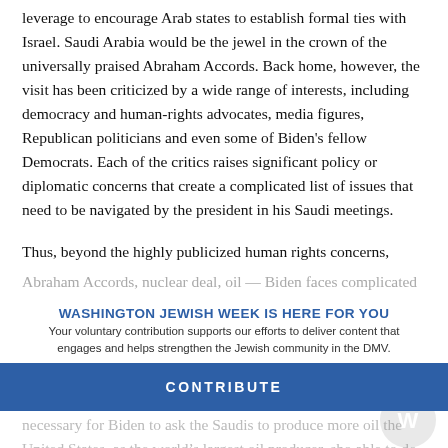leverage to encourage Arab states to establish formal ties with Israel. Saudi Arabia would be the jewel in the crown of the universally praised Abraham Accords. Back home, however, the visit has been criticized by a wide range of interests, including democracy and human-rights advocates, media figures, Republican politicians and even some of Biden's fellow Democrats. Each of the critics raises significant policy or diplomatic concerns that create a complicated list of issues that need to be navigated by the president in his Saudi meetings.
Thus, beyond the highly publicized human rights concerns,
Abraham Accords, nuclear deal, oil — Biden faces complicated Saudi visit is the Saudi visit... the Khashoggi affair, and Saudi concerns about a possible reentry of the U.S. into an Iran nuclear...
WASHINGTON JEWISH WEEK IS HERE FOR YOU
Your voluntary contribution supports our efforts to deliver content that engages and helps strengthen the Jewish community in the DMV.
CONTRIBUTE
necessary for Biden to ask the Saudis to produce more oil the United States, as the world's largest oil producer, sho able to do that itself.